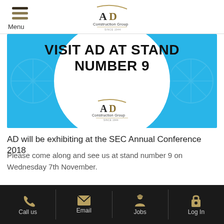Menu | AD Construction Group
[Figure (illustration): Banner image with light blue background, white circle in center, bold black text 'VISIT AD AT STAND NUMBER 9', and AD Construction Group logo below the text.]
AD will be exhibiting at the SEC Annual Conference 2018
Please come along and see us at stand number 9 on Wednesday 7th November.
Call us | Email | Jobs | Log In